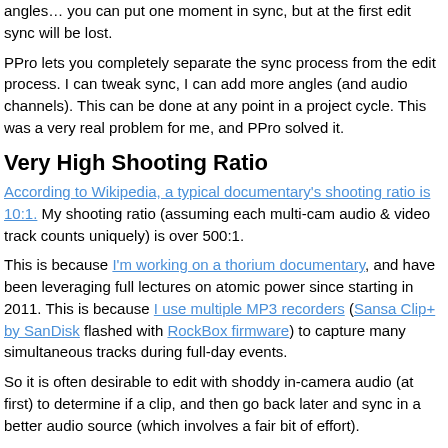angles… you can put one moment in sync, but at the first edit sync will be lost.
PPro lets you completely separate the sync process from the edit process. I can tweak sync, I can add more angles (and audio channels). This can be done at any point in a project cycle. This was a very real problem for me, and PPro solved it.
Very High Shooting Ratio
According to Wikipedia, a typical documentary's shooting ratio is 10:1. My shooting ratio (assuming each multi-cam audio & video track counts uniquely) is over 500:1.
This is because I'm working on a thorium documentary, and have been leveraging full lectures on atomic power since starting in 2011. This is because I use multiple MP3 recorders (Sansa Clip+ by SanDisk flashed with RockBox firmware) to capture many simultaneous tracks during full-day events.
So it is often desirable to edit with shoddy in-camera audio (at first) to determine if a clip, and then go back later and sync in a better audio source (which involves a fair bit of effort).
PPro is a Monolithic Resource Pig
…when working with a high shooting ratio. All audio is expanded to uncompressed WAV and (for some reason) pre-rendered again when working with multi-cam sequences within sequences.
Because I'm pulling from coverage of so many events, I need all these sync sequences (and sequences) to exist within a single PPro project.
Currently the project file is 1.07 GB in size. Adobe Premiere Pro.exe is occupying RAM.